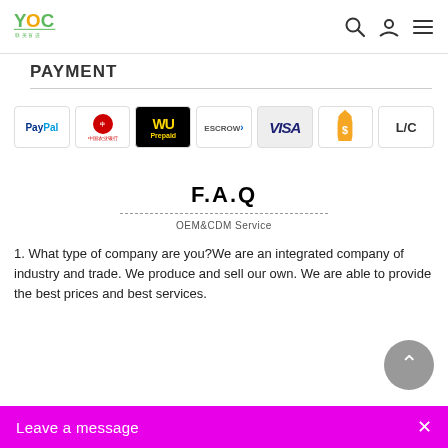[Figure (logo): YOC brand logo with green and yellow graphic mark and Chinese text below]
PAYMENT
[Figure (infographic): Row of payment method icons: PayPal, Bank of China, Western Union Prepaid, Escrow, Visa, Money bag with dollar sign (SafePay), L/C]
F.A.Q
OEM&CDM Service
1. What type of company are you?We are an integrated company of industry and trade. We produce and sell our own. We are able to provide the best prices and best services.
2. Where is your factor
Leave a message